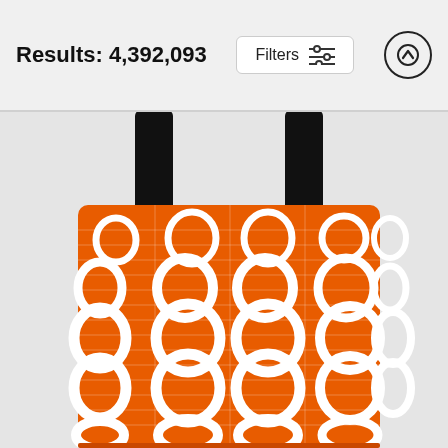Results: 4,392,093
[Figure (screenshot): UI filter button with sliders icon and text 'Filters', plus an up-arrow circle button]
[Figure (photo): Orange tote bag with white circle/ring pattern (mid-century modern style) on orange background, black straps]